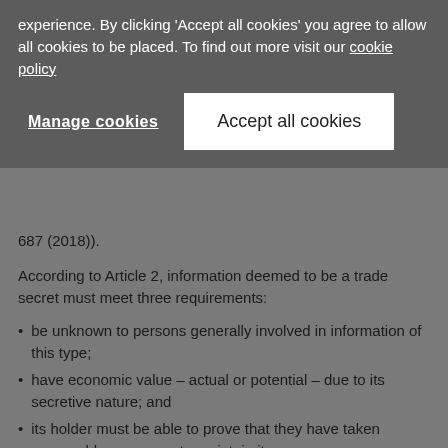experience. By clicking 'Accept all cookies' you agree to allow all cookies to be placed. To find out more visit our cookie policy
Manage cookies
Accept all cookies
687 (2018)).
According to Article 2, information deemed to be a trade secret must meet three requirements:
be unknown to persons generally involved in information of this type;
have economic value – actual or potential – due to its secretive nature; and
its holder must be able to prove that they have taken reasonable measures to maintain its secrecy.